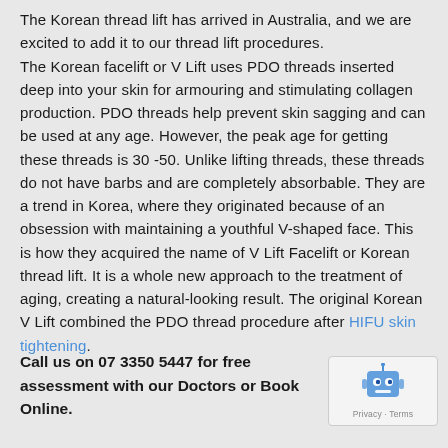The Korean thread lift has arrived in Australia, and we are excited to add it to our thread lift procedures. The Korean facelift or V Lift uses PDO threads inserted deep into your skin for armouring and stimulating collagen production. PDO threads help prevent skin sagging and can be used at any age. However, the peak age for getting these threads is 30 -50. Unlike lifting threads, these threads do not have barbs and are completely absorbable. They are a trend in Korea, where they originated because of an obsession with maintaining a youthful V-shaped face. This is how they acquired the name of V Lift Facelift or Korean thread lift. It is a whole new approach to the treatment of aging, creating a natural-looking result. The original Korean V Lift combined the PDO thread procedure after HIFU skin tightening.
Call us on 07 3350 5447 for free assessment with our Doctors or Book Online.
[Figure (other): reCAPTCHA privacy badge with robot icon and Privacy - Terms text]